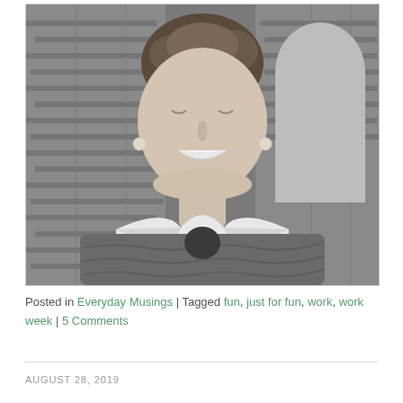[Figure (photo): Black and white photograph of a woman laughing with eyes closed, wearing a sweater with white collar, standing in front of a brick wall with an arched doorway.]
Posted in Everyday Musings | Tagged fun, just for fun, work, work week | 5 Comments
AUGUST 28, 2019